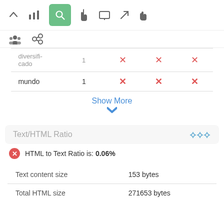[Figure (screenshot): Top navigation toolbar with icons: chevron up, bar chart, magnifying glass (active/green), hand pointer, tablet, send/paper plane, thumbs up]
[Figure (screenshot): Second toolbar row with people group icon and chain link icon]
| diversificado | 1 | ✗ | ✗ | ✗ |
| mundo | 1 | ✗ | ✗ | ✗ |
Show More
Text/HTML Ratio
HTML to Text Ratio is: 0.06%
| Text content size | 153 bytes |
| Total HTML size | 271653 bytes |